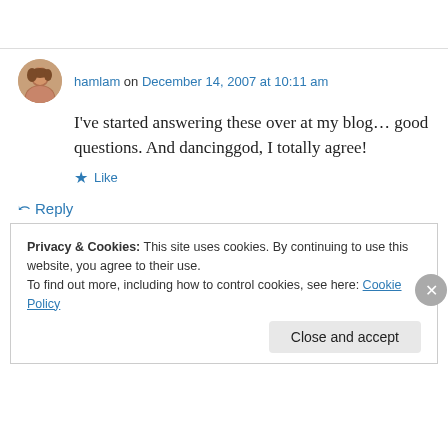hamlam on December 14, 2007 at 10:11 am
I've started answering these over at my blog… good questions. And dancinggod, I totally agree!
Like
Reply
Privacy & Cookies: This site uses cookies. By continuing to use this website, you agree to their use.
To find out more, including how to control cookies, see here: Cookie Policy
Close and accept